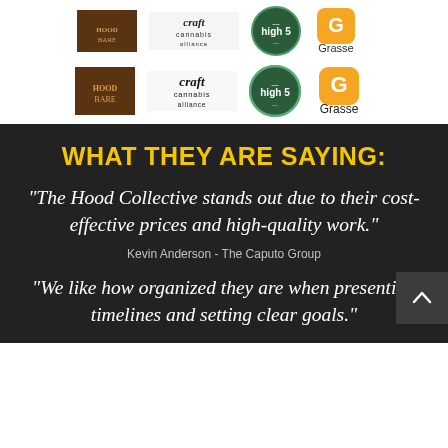[Figure (logo): Row of company logos: Hood Bare (brown square logo), Craft Cannabis Alliance, High 5 (circular badge), Grasse (orange G icon with text)]
WHAT THEY ARE SAYING:
"The Hood Collective stands out due to their cost-effective prices and high-quality work."
Kevin Anderson - The Caputo Group
"We like how organized they are when presenting timelines and setting clear goals."